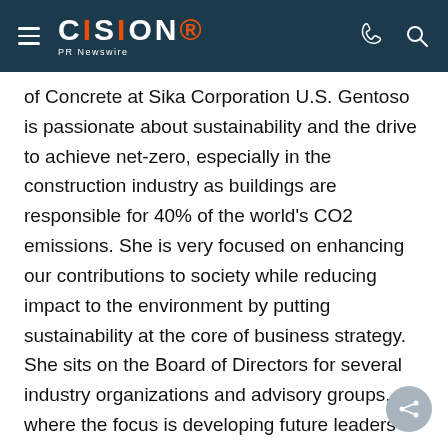CISION PR Newswire
of Concrete at Sika Corporation U.S. Gentoso is passionate about sustainability and the drive to achieve net-zero, especially in the construction industry as buildings are responsible for 40% of the world's CO2 emissions. She is very focused on enhancing our contributions to society while reducing impact to the environment by putting sustainability at the core of business strategy. She sits on the Board of Directors for several industry organizations and advisory groups, where the focus is developing future leaders and advocating for the climate.
Gentoso is a Professional Engineer (P.E.) and received